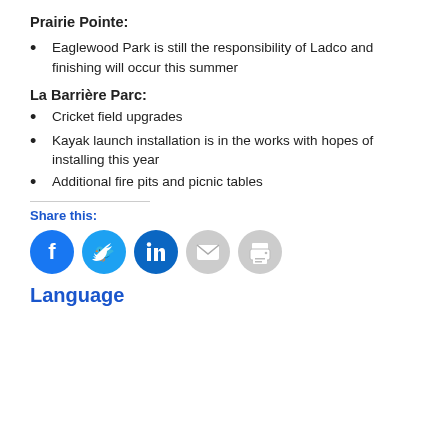Prairie Pointe:
Eaglewood Park is still the responsibility of Ladco and finishing will occur this summer
La Barrière Parc:
Cricket field upgrades
Kayak launch installation is in the works with hopes of installing this year
Additional fire pits and picnic tables
Share this:
[Figure (infographic): Social share buttons: Facebook (blue circle), Twitter (cyan circle), LinkedIn (dark blue circle), Email (grey circle), Print (grey circle)]
Language